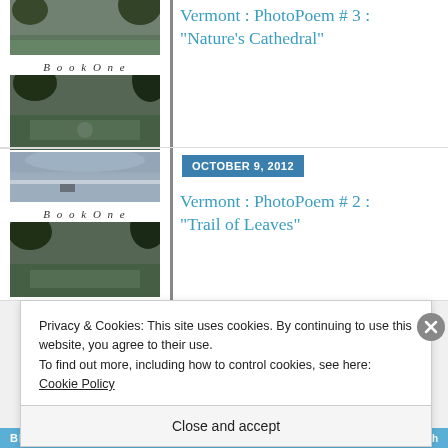[Figure (photo): Book cover image top with outdoor nature scene viewed through trees, 'Book One' label]
Vermont : PhotoPoem # 3 : “Nature’s Cathedral”
[Figure (photo): Book cover image bottom with water/lake scene and outdoor nature, 'Book One' label]
OCTOBER 9, 2012
Vermont : PhotoPoem # 2 : “Trail of Leaves”
Privacy & Cookies: This site uses cookies. By continuing to use this website, you agree to their use.
To find out more, including how to control cookies, see here: Cookie Policy
Close and accept